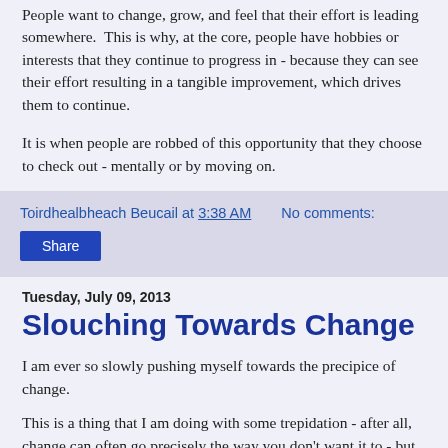People want to change, grow, and feel that their effort is leading somewhere. This is why, at the core, people have hobbies or interests that they continue to progress in - because they can see their effort resulting in a tangible improvement, which drives them to continue.
It is when people are robbed of this opportunity that they choose to check out - mentally or by moving on.
Toirdhealbheach Beucail at 3:38 AM    No comments:
Share
Tuesday, July 09, 2013
Slouching Towards Change
I am ever so slowly pushing myself towards the precipice of change.
This is a thing that I am doing with some trepidation - after all, change can often go precisely the way you don't want it to - but